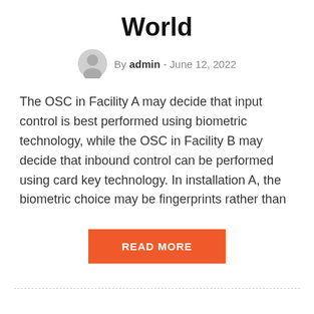World
By admin - June 12, 2022
The OSC in Facility A may decide that input control is best performed using biometric technology, while the OSC in Facility B may decide that inbound control can be performed using card key technology. In installation A, the biometric choice may be fingerprints rather than
READ MORE